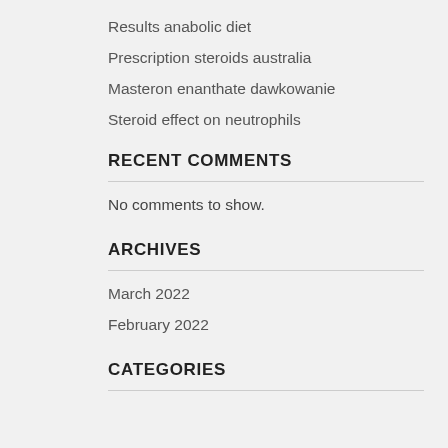Results anabolic diet
Prescription steroids australia
Masteron enanthate dawkowanie
Steroid effect on neutrophils
RECENT COMMENTS
No comments to show.
ARCHIVES
March 2022
February 2022
CATEGORIES